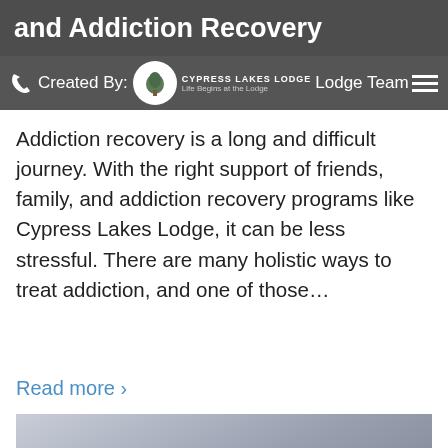and Addiction Recovery
Created By: Cypress Lakes Lodge Team — CYPRESS LAKES LODGE Life Begins at the Lodge
Addiction recovery is a long and difficult journey. With the right support of friends, family, and addiction recovery programs like Cypress Lakes Lodge, it can be less stressful. There are many holistic ways to treat addiction, and one of those…
Read more ›
[Figure (photo): A person wearing a black hoodie, sitting against a wall with head down and hand on forehead, appearing distressed.]